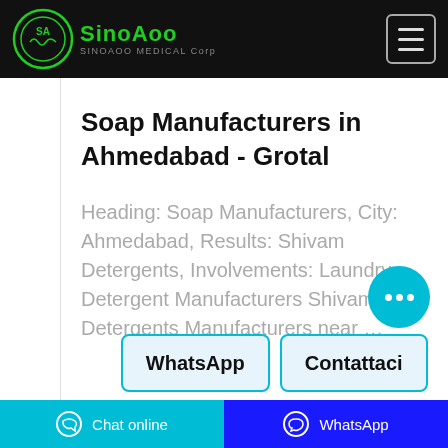SinoAoo SINOAOO MEDICAL Corp
Soap Manufacturers in Ahmedabad - Grotal
Heading: Soap Manufacturers, City: Ahmedabad, Results: Shivam Detergents, Involvements: Laundry Detergent Manufacturers Shivam Detergents Manufacturers near …
WhatsApp
Contattaci
Chat online   WhatsApp